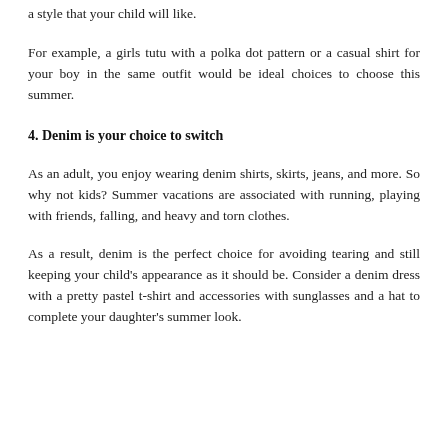a style that your child will like.
For example, a girls tutu with a polka dot pattern or a casual shirt for your boy in the same outfit would be ideal choices to choose this summer.
4. Denim is your choice to switch
As an adult, you enjoy wearing denim shirts, skirts, jeans, and more. So why not kids? Summer vacations are associated with running, playing with friends, falling, and heavy and torn clothes.
As a result, denim is the perfect choice for avoiding tearing and still keeping your child's appearance as it should be. Consider a denim dress with a pretty pastel t-shirt and accessories with sunglasses and a hat to complete your daughter's summer look.